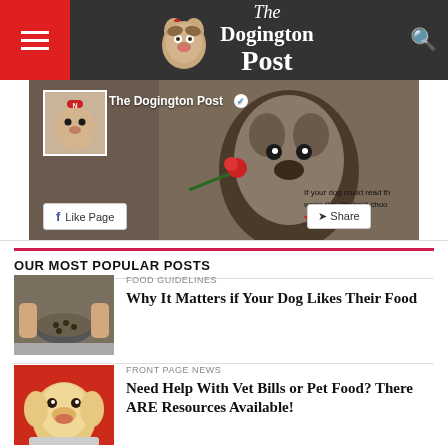The Dogington Post
[Figure (screenshot): Facebook Like Page widget showing The Dogington Post page with a dog holding a rose and Like Page / Share buttons]
OUR MOST POPULAR POSTS
[Figure (photo): A bowl of dog food being held by a person's hands]
FOOD GUIDELINES
Why It Matters if Your Dog Likes Their Food
[Figure (photo): A golden labrador puppy looking up from a bowl]
FRONT PAGE NEWS
Need Help With Vet Bills or Pet Food? There ARE Resources Available!